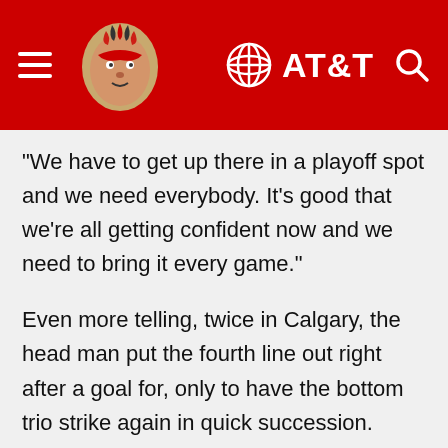[Figure (screenshot): Chicago Blackhawks website header with red background, Blackhawks logo, hamburger menu icon on left, AT&T logo and search icon on right]
"We have to get up there in a playoff spot and we need everybody. It's good that we're all getting confident now and we need to bring it every game."
Even more telling, twice in Calgary, the head man put the fourth line out right after a goal for, only to have the bottom trio strike again in quick succession.
Immediately following Saad's tally early in the second, Nylander picked the pocket of a Flames D-to-D pass and struck on an abbreviated breakaway for a 4-2 lead just 64 seconds later. Then later in the frame, Nylander needed just 27 seconds to convert following DeBrincat's